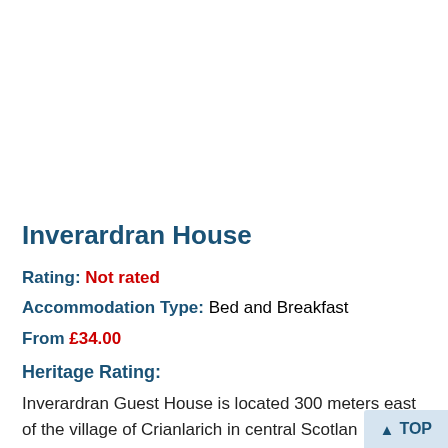Inverardran House
Rating: Not rated
Accommodation Type: Bed and Breakfast
From £34.00
Heritage Rating:
Inverardran Guest House is located 300 meters east of the village of Crianlarich in central Scotland and offer bed and breakfast Accommodation using locally